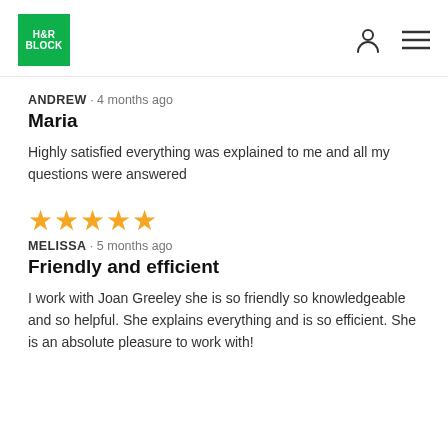H&R BLOCK
ANDREW · 4 months ago
Maria
Highly satisfied everything was explained to me and all my questions were answered
[Figure (other): Five gold star rating]
MELISSA · 5 months ago
Friendly and efficient
I work with Joan Greeley she is so friendly so knowledgeable and so helpful. She explains everything and is so efficient. She is an absolute pleasure to work with!